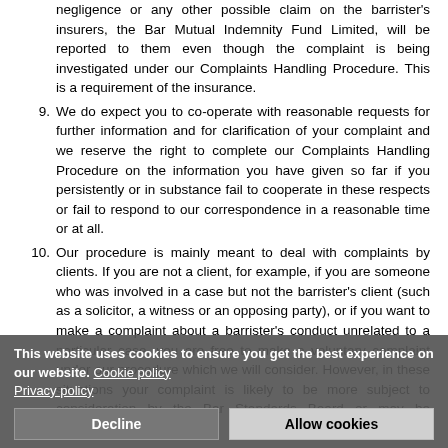negligence or any other possible claim on the barrister's insurers, the Bar Mutual Indemnity Fund Limited, will be reported to them even though the complaint is being investigated under our Complaints Handling Procedure. This is a requirement of the insurance.
9. We do expect you to co-operate with reasonable requests for further information and for clarification of your complaint and we reserve the right to complete our Complaints Handling Procedure on the information you have given so far if you persistently or in substance fail to cooperate in these respects or fail to respond to our correspondence in a reasonable time or at all.
10. Our procedure is mainly meant to deal with complaints by clients. If you are not a client, for example, if you are someone who was involved in a case but not the barrister's client (such as a solicitor, a witness or an opposing party), or if you want to make a complaint about a barrister's conduct unrelated to a particular case, you are free to make a voluntary complaint under our procedure which we will consider. However, in these situations your complaint is likely to be more subject to consideration by the Bar Standards Board or may be incapable of fair
This website uses cookies to ensure you get the best experience on our website. Cookie policy Privacy policy
Decline   Allow cookies